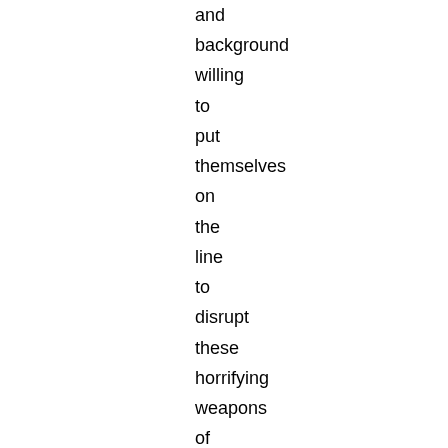and background willing to put themselves on the line to disrupt these horrifying weapons of mass destruction."

See Full Timeline of events Faslane Film from day